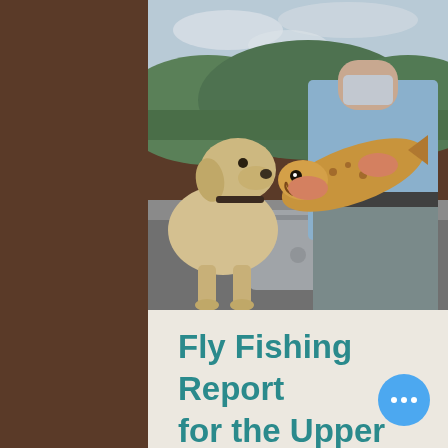[Figure (photo): A yellow Labrador dog sitting in a boat looking at a large brown trout fish being held up by a person wearing a light blue long-sleeve shirt and grey waders. Green tree-covered hills and overcast sky in the background.]
Fly Fishing Report for the Upper